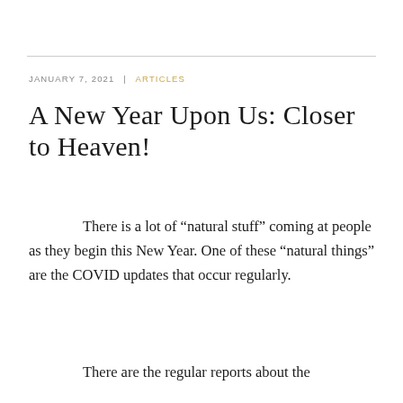JANUARY 7, 2021  |  ARTICLES
A New Year Upon Us: Closer to Heaven!
There is a lot of “natural stuff” coming at people as they begin this New Year. One of these “natural things” are the COVID updates that occur regularly.
There are the regular reports about the